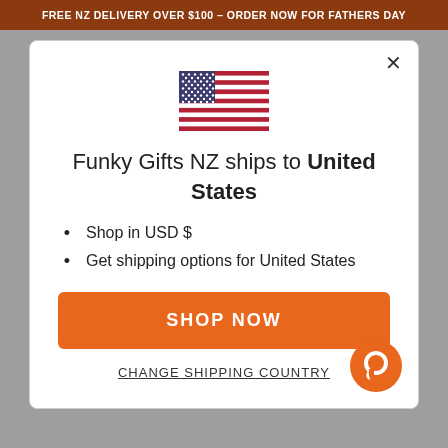FREE NZ DELIVERY OVER $100 – ORDER NOW FOR FATHERS DAY
[Figure (illustration): United States flag emoji/icon]
Funky Gifts NZ ships to United States
Shop in USD $
Get shipping options for United States
SHOP NOW
CHANGE SHIPPING COUNTRY